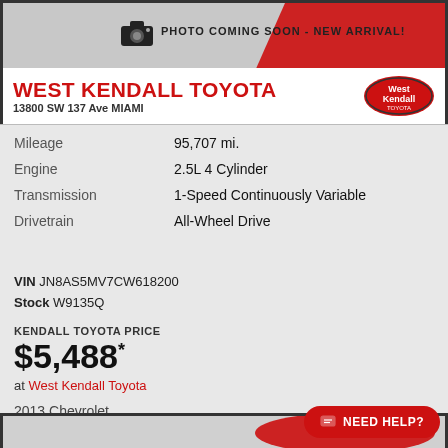[Figure (photo): Top portion showing red vehicle and camera/photo coming soon banner]
PHOTO COMING SOON - NEW ARRIVAL!
WEST KENDALL TOYOTA
13800 SW 137 Ave MIAMI
| Attribute | Value |
| --- | --- |
| Mileage | 95,707 mi. |
| Engine | 2.5L 4 Cylinder |
| Transmission | 1-Speed Continuously Variable |
| Drivetrain | All-Wheel Drive |
VIN JN8AS5MV7CW618200
Stock W9135Q
KENDALL TOYOTA PRICE
$5,488*
at West Kendall Toyota
2013 Chevrolet
Cruze 2LT